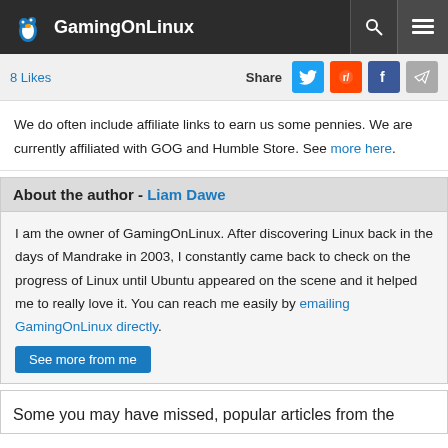GamingOnLinux
8 Likes   Share
We do often include affiliate links to earn us some pennies. We are currently affiliated with GOG and Humble Store. See more here.
About the author - Liam Dawe
I am the owner of GamingOnLinux. After discovering Linux back in the days of Mandrake in 2003, I constantly came back to check on the progress of Linux until Ubuntu appeared on the scene and it helped me to really love it. You can reach me easily by emailing GamingOnLinux directly.
See more from me
Some you may have missed, popular articles from the